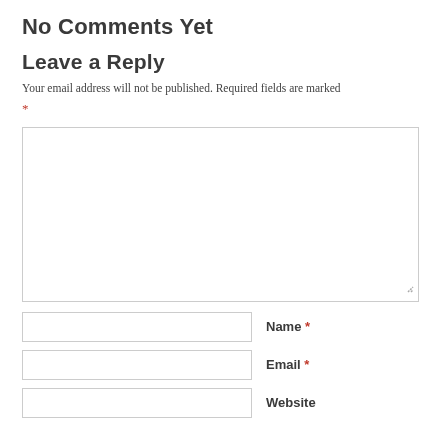No Comments Yet
Leave a Reply
Your email address will not be published. Required fields are marked *
[Figure (other): Comment text area input box with resize handle]
Name *
[Figure (other): Name text input field]
Email *
[Figure (other): Email text input field]
Website
[Figure (other): Website text input field]